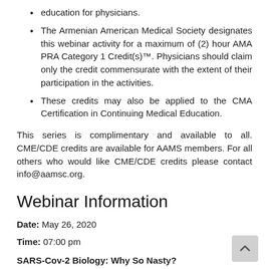education for physicians.
The Armenian American Medical Society designates this webinar activity for a maximum of (2) hour AMA PRA Category 1 Credit(s)™. Physicians should claim only the credit commensurate with the extent of their participation in the activities.
These credits may also be applied to the CMA Certification in Continuing Medical Education.
This series is complimentary and available to all. CME/CDE credits are available for AAMS members. For all others who would like CME/CDE credits please contact info@aamsc.org.
Webinar Information
Date: May 26, 2020
Time: 07:00 pm
SARS-Cov-2 Biology: Why So Nasty?
Presented by: Evgeni V. Sokurenko, MD, PhD
Professor, Dept. Microbiology